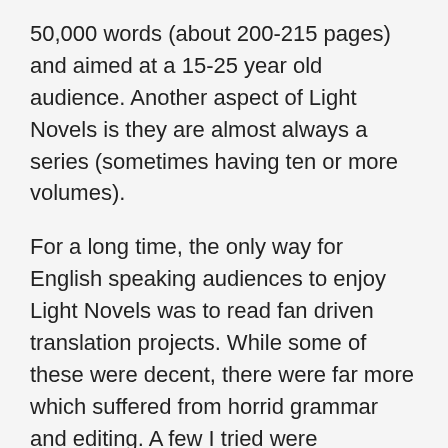50,000 words (about 200-215 pages) and aimed at a 15-25 year old audience. Another aspect of Light Novels is they are almost always a series (sometimes having ten or more volumes).
For a long time, the only way for English speaking audiences to enjoy Light Novels was to read fan driven translation projects. While some of these were decent, there were far more which suffered from horrid grammar and editing. A few I tried were unreadable.
But thanks to a growing fanbase for anime and manga, a few English publishers are getting on board and bringing some more popular Light Novels to market.
My current hero publisher is Yen On, a sub-press of Yen Press, who have been releasing manga for a